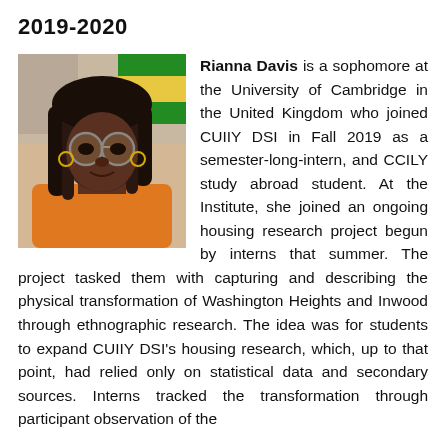2019-2020
[Figure (photo): Headshot photo of Rianna Davis, a young woman wearing glasses and an orange top, with braided hair, smiling at the camera.]
Rianna Davis is a sophomore at the University of Cambridge in the United Kingdom who joined CUIIY DSI in Fall 2019 as a semester-long-intern, and CCILY study abroad student. At the Institute, she joined an ongoing housing research project begun by interns that summer. The project tasked them with capturing and describing the physical transformation of Washington Heights and Inwood through ethnographic research. The idea was for students to expand CUIIY DSI's housing research, which, up to that point, had relied only on statistical data and secondary sources. Interns tracked the transformation through participant observation of the